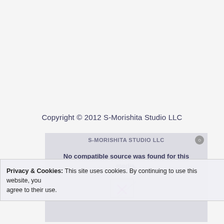Copyright © 2012 S-Morishita Studio LLC
[Figure (screenshot): A video player overlay showing 'No compatible source was found for this media.' with a close button and a broken media icon with an X.]
Privacy & Cookies: This site uses cookies. By continuing to use this website, you agree to their use.